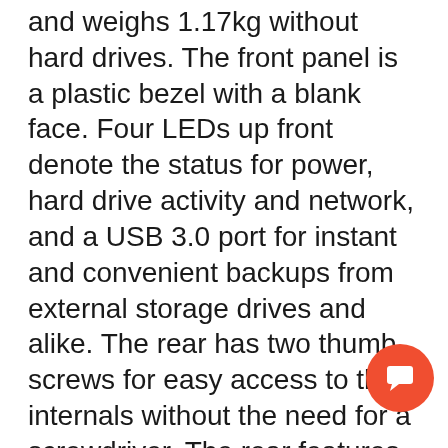and weighs 1.17kg without hard drives. The front panel is a plastic bezel with a blank face. Four LEDs up front denote the status for power, hard drive activity and network, and a USB 3.0 port for instant and convenient backups from external storage drives and alike. The rear has two thumb screws for easy access to the internals without the need for a screwdriver. The rear features a large power button, two USB 3.0 ports, an HDMI port, an Ethernet port and a power jack. Lastly, the bottom has four rubber legs to keep the unit stable and vibration-free on the desk along with a few vents to help airflow. NAS has a power consumption rated at